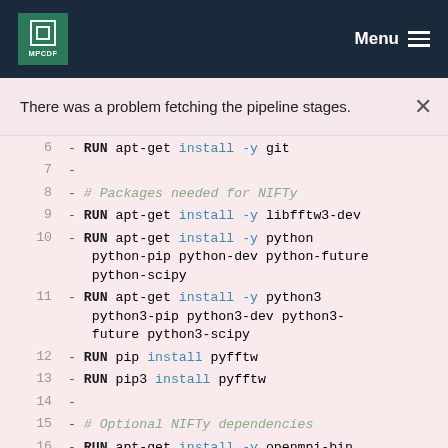MPCDF — Menu
There was a problem fetching the pipeline stages.
6  - RUN apt-get install -y git
7  -
8  - # Packages needed for NIFTy
9  - RUN apt-get install -y libfftw3-dev
10 - RUN apt-get install -y python python-pip python-dev python-future python-scipy
11 - RUN apt-get install -y python3 python3-pip python3-dev python3-future python3-scipy
12 - RUN pip install pyfftw
13 - RUN pip3 install pyfftw
14 -
15 - # Optional NIFTy dependencies
16 - RUN apt-get install -y openmpi-bin libopenmpi-dev python-mpi4py python3-mpi4py
17 - RUN pip install